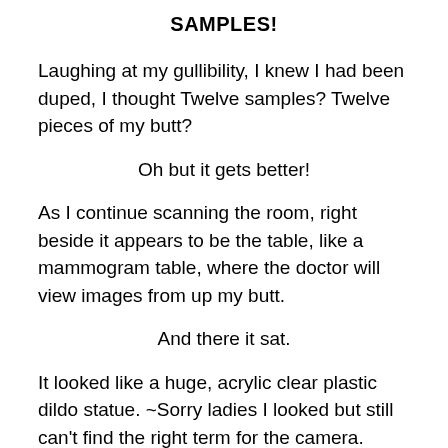SAMPLES!
Laughing at my gullibility, I knew I had been duped, I thought Twelve samples? Twelve pieces of my butt?
Oh but it gets better!
As I continue scanning the room, right beside it appears to be the table, like a mammogram table, where the doctor will view images from up my butt.
And there it sat.
It looked like a huge, acrylic clear plastic dildo statue. ~Sorry ladies I looked but still can't find the right term for the camera.
But I only saw one. And I thought, this is the device he uses to look up every other man's rectum. This one. I am